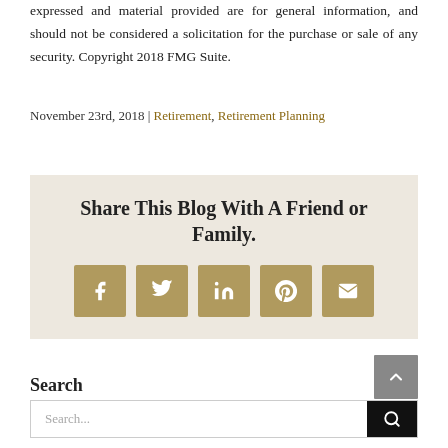expressed and material provided are for general information, and should not be considered a solicitation for the purchase or sale of any security. Copyright 2018 FMG Suite.
November 23rd, 2018 | Retirement, Retirement Planning
Share This Blog With A Friend or Family.
[Figure (infographic): Social share buttons for Facebook, Twitter, LinkedIn, Pinterest, and Email in gold/tan squares]
Search
Search...